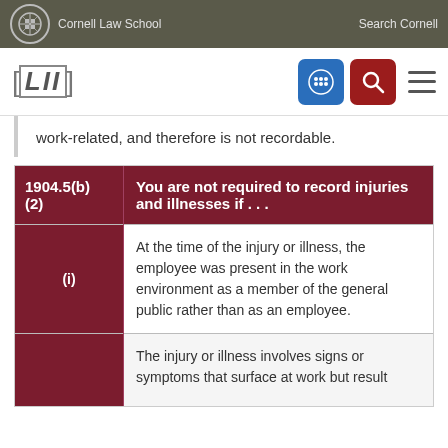Cornell Law School | Search Cornell
[LII]
work-related, and therefore is not recordable.
| 1904.5(b)(2) | You are not required to record injuries and illnesses if . . . |
| --- | --- |
| (i) | At the time of the injury or illness, the employee was present in the work environment as a member of the general public rather than as an employee. |
| (ii) | The injury or illness involves signs or symptoms that surface at work but result |